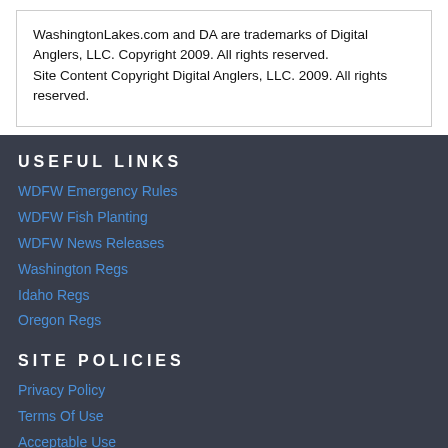WashingtonLakes.com and DA are trademarks of Digital Anglers, LLC. Copyright 2009. All rights reserved.
Site Content Copyright Digital Anglers, LLC. 2009. All rights reserved.
USEFUL LINKS
WDFW Emergency Rules
WDFW Fish Planting
WDFW News Releases
Washington Regs
Idaho Regs
Oregon Regs
SITE POLICIES
Privacy Policy
Terms Of Use
Acceptable Use
Advertising Policy
FOLLOW US!